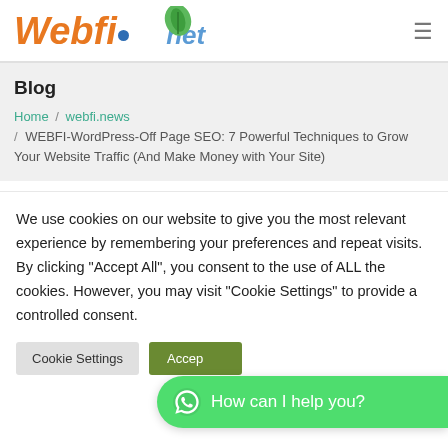Webfi.net
Blog
Home / webfi.news / WEBFI-WordPress-Off Page SEO: 7 Powerful Techniques to Grow Your Website Traffic (And Make Money with Your Site)
We use cookies on our website to give you the most relevant experience by remembering your preferences and repeat visits. By clicking "Accept All", you consent to the use of ALL the cookies. However, you may visit "Cookie Settings" to provide a controlled consent.
Cookie Settings  Accept  How can I help you?